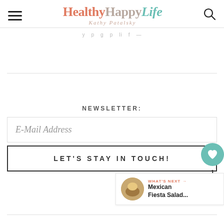HealthyHappyLife — Kathy Patalsky
NEWSLETTER:
E-Mail Address
LET'S STAY IN TOUCH!
WHAT'S NEXT → Mexican Fiesta Salad...